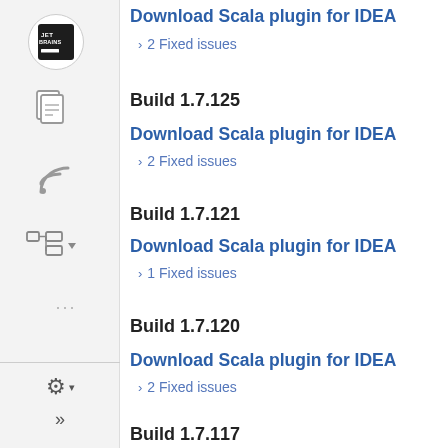[Figure (screenshot): Left sidebar with JetBrains-style navigation icons: app logo, document icon, RSS/feed icon, hierarchy/tree icon with dropdown arrow, and a three-dot vertical menu indicator. Bottom section has a gear/settings icon with dropdown arrow and a double chevron (>>) button.]
Download Scala plugin for IDEA
> 2 Fixed issues
Build 1.7.125
Download Scala plugin for IDEA
> 2 Fixed issues
Build 1.7.121
Download Scala plugin for IDEA
> 1 Fixed issues
Build 1.7.120
Download Scala plugin for IDEA
> 2 Fixed issues
Build 1.7.117
Download Scala plugin for IDEA